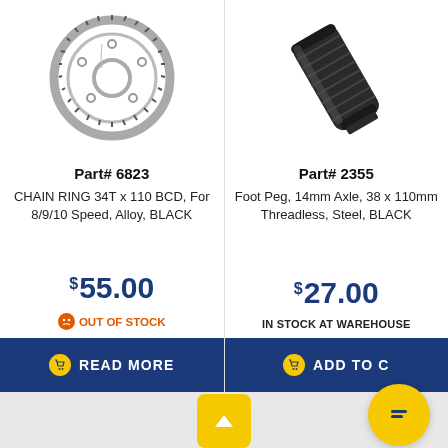[Figure (photo): Chain ring bicycle sprocket, silver/grey, circular gear with teeth]
Part# 6823
CHAIN RING 34T x 110 BCD, For 8/9/10 Speed, Alloy, BLACK
$55.00
OUT OF STOCK
READ MORE
[Figure (photo): Foot peg, black metal cylindrical axle part]
Part# 2355
Foot Peg, 14mm Axle, 38 x 110mm Threadless, Steel, BLACK
$27.00
IN STOCK AT WAREHOUSE
ADD TO C...